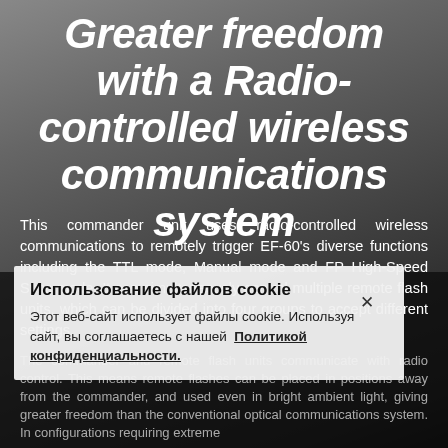[Figure (photo): Background photo of a person's head from behind, holding a camera, in dim/dark lighting with grey tones]
Greater freedom with a Radio-controlled wireless communications system
This commander unit uses radio-controlled wireless communications to remotely trigger EF-60's diverse functions including the TTL mode, Manual mode and FP High-Speed Sync mode. It can simultaneously control multiple remote flash units, which can be divided into four groups to accept different settings.
The commander and remote flash units communicate with radio control. This means remote flashes can be placed in positions away from the commander, and used even in bright ambient light, giving greater freedom than the conventional optical communications system. In configurations requiring extreme
Использование файлов cookie
Этот веб-сайт использует файлы cookie. Используя сайт, вы соглашаетесь с нашей Политикой конфиденциальности.